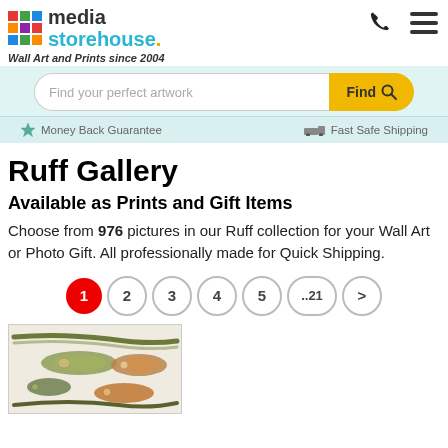media storehouse. Wall Art and Prints since 2004
[Figure (screenshot): Search bar with placeholder 'Find your perfect artwork' and yellow 'Find' button with magnifier icon]
Money Back Guarantee   Fast Safe Shipping
Ruff Gallery
Available as Prints and Gift Items
Choose from 976 pictures in our Ruff collection for your Wall Art or Photo Gift. All professionally made for Quick Shipping.
[Figure (other): Pagination controls: 1 (active/red), 2, 3, 4, 5, ..21, >]
[Figure (illustration): Vintage illustration of various freshwater fish species arranged together]